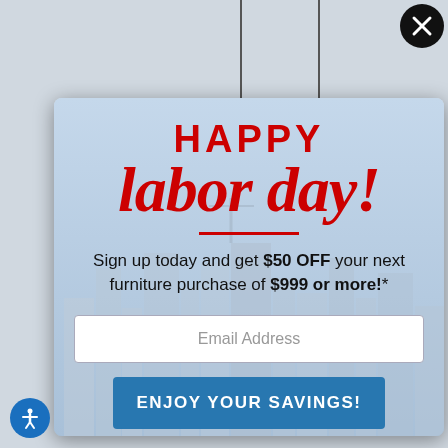[Figure (screenshot): Labor Day promotional popup modal on a furniture retail website. Shows 'HAPPY labor day!' text in red, a promotional offer for $50 OFF furniture purchase of $999 or more, an email address input field, a blue 'ENJOY YOUR SAVINGS!' button, and a 'NO THANKS' link. Has a close (X) button in top right corner and city skyline background.]
HAPPY labor day!
Sign up today and get $50 OFF your next furniture purchase of $999 or more!*
Email Address
ENJOY YOUR SAVINGS!
NO THANKS